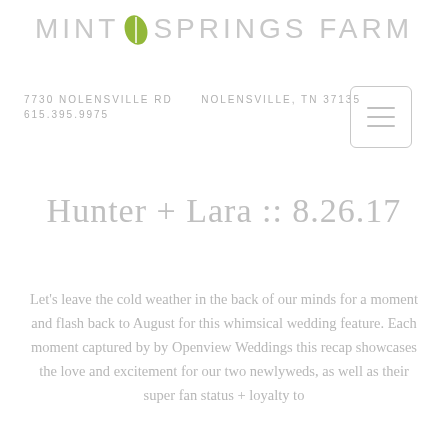MINT SPRINGS FARM
7730 NOLENSVILLE RD   NOLENSVILLE, TN 37135
615.395.9975
[Figure (other): Hamburger menu button icon with three horizontal lines inside a rounded rectangle border]
Hunter + Lara :: 8.26.17
Let's leave the cold weather in the back of our minds for a moment and flash back to August for this whimsical wedding feature. Each moment captured by by Openview Weddings this recap showcases the love and excitement for our two newlyweds, as well as their super fan status + loyalty to